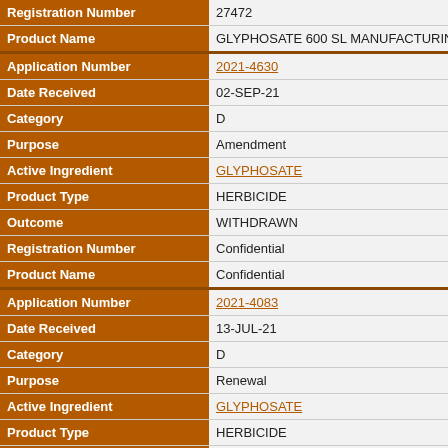| Field | Value |
| --- | --- |
| Registration Number | 27472 |
| Product Name | GLYPHOSATE 600 SL MANUFACTURING CO... |
| Application Number | 2021-4630 |
| Date Received | 02-SEP-21 |
| Category | D |
| Purpose | Amendment |
| Active Ingredient | GLYPHOSATE |
| Product Type | HERBICIDE |
| Outcome | WITHDRAWN |
| Registration Number | Confidential |
| Product Name | Confidential |
| Application Number | 2021-4083 |
| Date Received | 13-JUL-21 |
| Category | D |
| Purpose | Renewal |
| Active Ingredient | GLYPHOSATE |
| Product Type | HERBICIDE |
| Outcome | REGISTERED |
| Registration Number | 29980 |
| Product Name | SHARDA GLYPHOSATE TECHNICAL HERBIC... |
| Application Number | 2021-2172 |
| Date Received | 25-MAY-21 |
| Category | D |